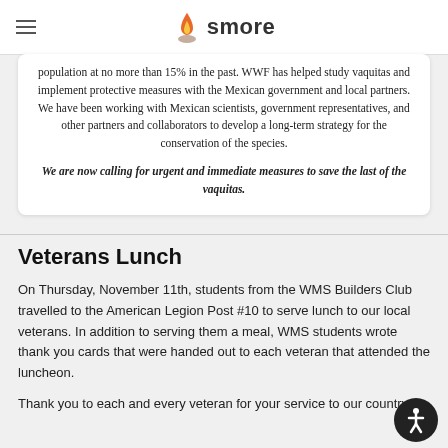smore
population at no more than 15% in the past. WWF has helped study vaquitas and implement protective measures with the Mexican government and local partners. We have been working with Mexican scientists, government representatives, and other partners and collaborators to develop a long-term strategy for the conservation of the species.
We are now calling for urgent and immediate measures to save the last of the vaquitas.
Veterans Lunch
On Thursday, November 11th, students from the WMS Builders Club travelled to the American Legion Post #10 to serve lunch to our local veterans. In addition to serving them a meal, WMS students wrote thank you cards that were handed out to each veteran that attended the luncheon.
Thank you to each and every veteran for your service to our country.